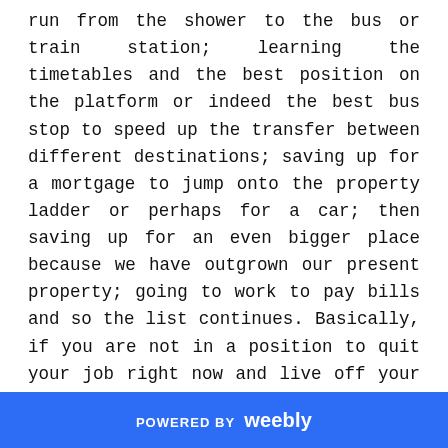run from the shower to the bus or train station; learning the timetables and the best position on the platform or indeed the best bus stop to speed up the transfer between different destinations; saving up for a mortgage to jump onto the property ladder or perhaps for a car; then saving up for an even bigger place because we have outgrown our present property; going to work to pay bills and so the list continues. Basically, if you are not in a position to quit your job right now and live off your investments until you die...you are in the rat race.

My main aim in life since I started working is to jump out of the rat race and to become financially free. I
POWERED BY weebly